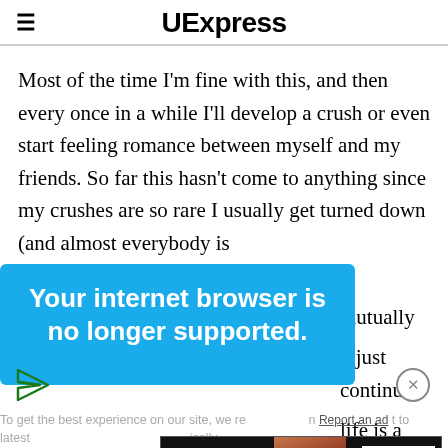UExpress
Most of the time I'm fine with this, and then every once in a while I'll develop a crush or even start feeling romance between myself and my friends. So far this hasn't come to anything since my crushes are so rare I usually get turned down (and almost everybody is
p mutually
d just continue
life is a mess
[Figure (infographic): Blue banner overlay with text 'Your internet browser is no longer supported.' with a send/paper-plane icon below]
To get the best experience on our site, we re latest
Report an ad
[Figure (infographic): Macy's lipstick advertisement banner with text 'KISS BORING LIPS GOODBYE' and 'SHOP NOW' button with Macy's logo, showing a woman's face with red lipstick]
doing the living-in-the-parents-basement equivalent.